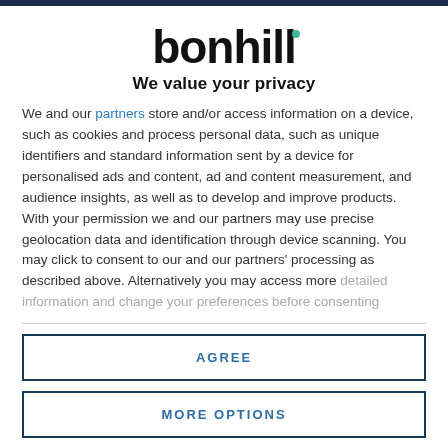[Figure (logo): bonhill logo with teal dot accent and text 'We value your privacy']
We and our partners store and/or access information on a device, such as cookies and process personal data, such as unique identifiers and standard information sent by a device for personalised ads and content, ad and content measurement, and audience insights, as well as to develop and improve products. With your permission we and our partners may use precise geolocation data and identification through device scanning. You may click to consent to our and our partners' processing as described above. Alternatively you may access more detailed information and change your preferences before consenting
AGREE
MORE OPTIONS
those with autism, for example. But within